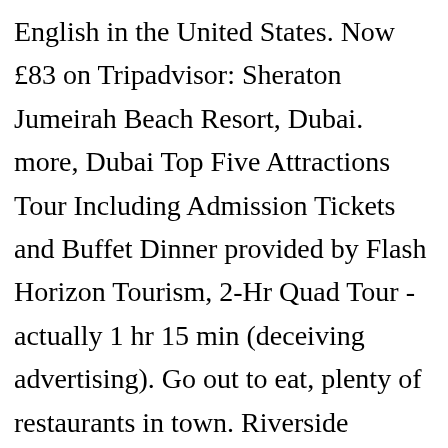English in the United States. Now £83 on Tripadvisor: Sheraton Jumeirah Beach Resort, Dubai. more, Dubai Top Five Attractions Tour Including Admission Tickets and Buffet Dinner provided by Flash Horizon Tourism, 2-Hr Quad Tour - actually 1 hr 15 min (deceiving advertising). Go out to eat, plenty of restaurants in town. Riverside restaurants and bars are within 5 minutes' walk, and Athlone Castle is 700 m away. Bathroom good and good shower pressure. I took my mom for the boat ride and didn't tell her about